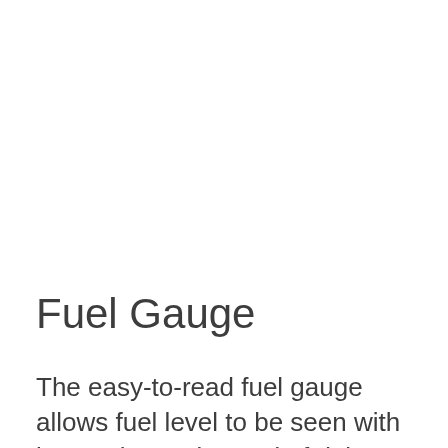Fuel Gauge
The easy-to-read fuel gauge allows fuel level to be seen with just a glance, instead of doing any complicated